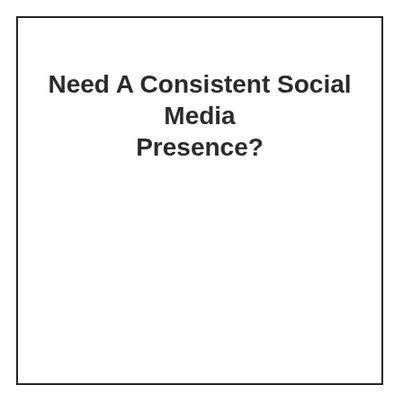Need A Consistent Social Media Presence?